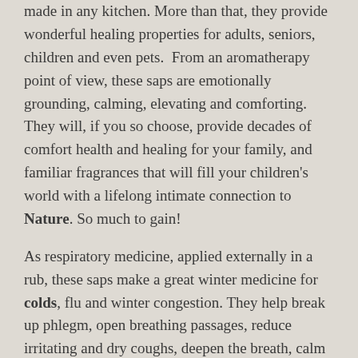made in any kitchen. More than that, they provide wonderful healing properties for adults, seniors, children and even pets.  From an aromatherapy point of view, these saps are emotionally grounding, calming, elevating and comforting. They will, if you so choose, provide decades of comfort health and healing for your family, and familiar fragrances that will fill your children's world with a lifelong intimate connection to Nature. So much to gain!
As respiratory medicine, applied externally in a rub, these saps make a great winter medicine for colds, flu and winter congestion. They help break up phlegm, open breathing passages, reduce irritating and dry coughs, deepen the breath, calm the mind and encourage a restful sleep. When used for tired and sore muscles and joints, they stimulate surface blood flow which helps remove toxins from muscles and joints, help invigorate tired muscles, ease aches and pains, reduce swelling and inflammation in joints and reduce